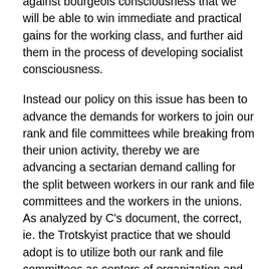against bourgeois consciousness that we will be able to win immediate and practical gains for the working class, and further aid them in the process of developing socialist consciousness.
Instead our policy on this issue has been to advance the demands for workers to join our rank and file committees while breaking from their union activity, thereby we are advancing a sectarian demand calling for the split between workers in our rank and file committees and the workers in the unions. As analyzed by C's document, the correct, ie. the Trotskyist practice that we should adopt is to utilize both our rank and file committees as centers of organization and education for the advanced workers while developing consistent work within the trade unions to popularize increasingly radical demands and develop